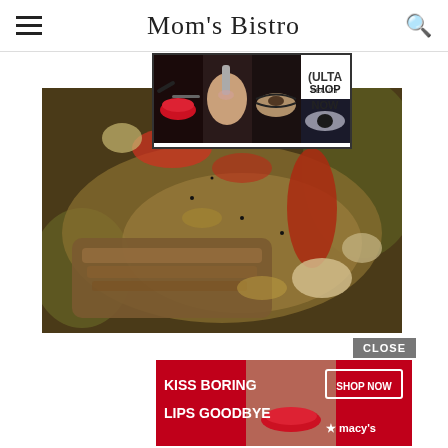Mom's Bistro
[Figure (photo): ULTA beauty advertisement banner with makeup images, model eyes, and SHOP NOW text]
[Figure (photo): Close-up food photo showing braised meat with tomatoes, sauce, and vegetables]
[Figure (photo): CLOSE button and Macy's advertisement: KISS BORING LIPS GOODBYE with SHOP NOW and Macy's star logo, woman with red lips]